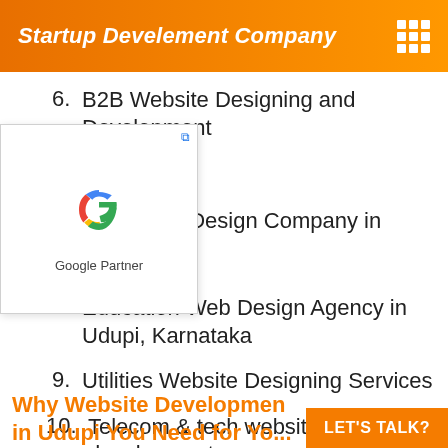Startup Develement Company
6. B2B Website Designing and Development
[Figure (logo): Google Partner badge with Google G logo]
7. Financial Web Design Company in Udupi
8. Education Web Design Agency in Udupi, Karnataka
9. Utilities Website Designing Services
10. Telecom & tech website development
Why Website Development Company in Udupi You Need for Yo...